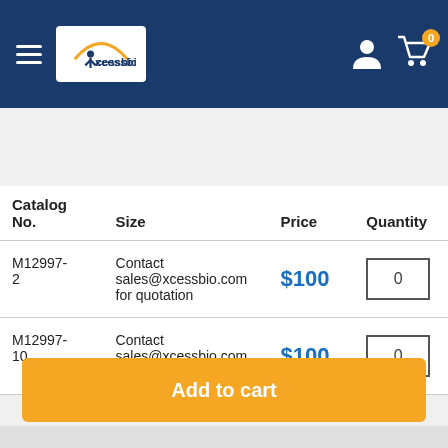[Figure (screenshot): Xcessbio website header with hamburger menu, logo, user icon, and cart icon with badge showing 0]
[Figure (screenshot): Search bar with placeholder text 'Search...' and orange search button]
| Catalog No. | Size | Price | Quantity |
| --- | --- | --- | --- |
| M12997-2 | Contact sales@xcessbio.com for quotation | $100 | 0 |
| M12997-10 | Contact sales@xcessbio.com for quotation | $100 | 0 |
Add to cart